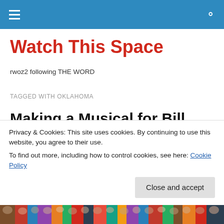Watch This Space — site navigation header with hamburger menu and search icon
Watch This Space
rwoz2 following THE WORD
TAGGED WITH OKLAHOMA
Making a Musical for Bill Conrad
Privacy & Cookies: This site uses cookies. By continuing to use this website, you agree to their use.
To find out more, including how to control cookies, see here: Cookie Policy
Close and accept
[Figure (photo): Bottom strip showing a crowd of people, colorful audience photo]